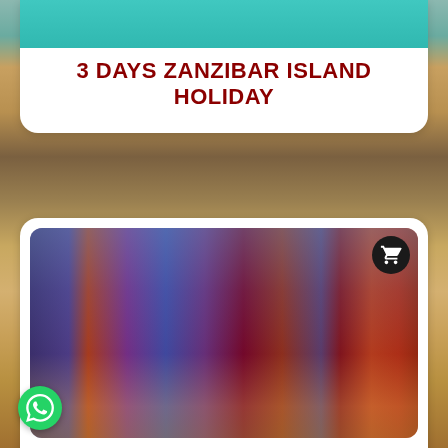[Figure (photo): Partial view of turquoise water (Zanzibar beach) at top of upper card]
3 DAYS ZANZIBAR ISLAND HOLIDAY
[Figure (photo): Group of Maasai warriors in colorful robes (red, blue, purple) holding spears, standing in savanna near a vehicle, with a shopping cart icon overlay in top right]
MAASAI BOMA IN NGORONGORO CONSERVATION AREA